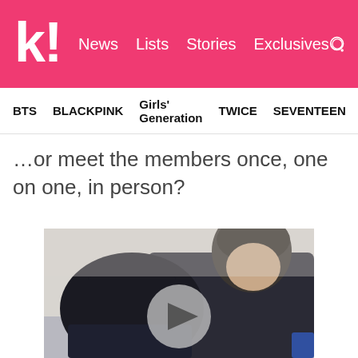k! News Lists Stories Exclusives
BTS  BLACKPINK  Girls' Generation  TWICE  SEVENTEEN
…or meet the members once, one on one, in person?
[Figure (photo): Black and white photo of two people close together, overlaid with a circular play button icon]